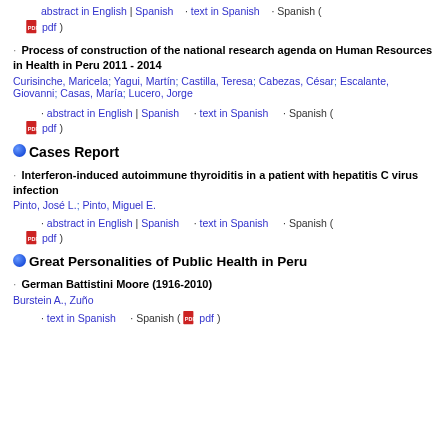abstract in English | Spanish · text in Spanish · Spanish ( pdf )
Process of construction of the national research agenda on Human Resources in Health in Peru 2011 - 2014
Curisinche, Maricela; Yagui, Martín; Castilla, Teresa; Cabezas, César; Escalante, Giovanni; Casas, María; Lucero, Jorge
· abstract in English | Spanish    · text in Spanish    · Spanish ( pdf )
Cases Report
Interferon-induced autoimmune thyroiditis in a patient with hepatitis C virus infection
Pinto, José L.; Pinto, Miguel E.
· abstract in English | Spanish    · text in Spanish    · Spanish ( pdf )
Great Personalities of Public Health in Peru
German Battistini Moore (1916-2010)
Burstein A., Zuño
· text in Spanish    · Spanish ( pdf )